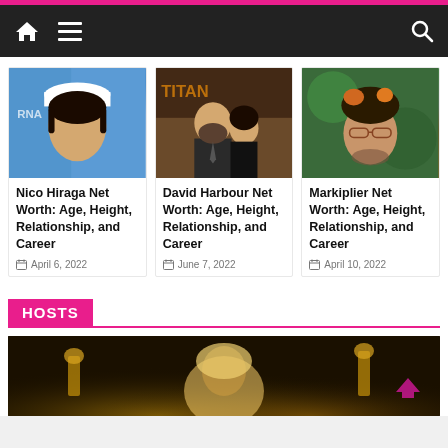Navigation bar with home, menu, and search icons
[Figure (photo): Nico Hiraga photo - young Asian man with white cap on blue background]
Nico Hiraga Net Worth: Age, Height, Relationship, and Career
April 6, 2022
[Figure (photo): David Harbour photo - bearded man in suit with woman at event]
David Harbour Net Worth: Age, Height, Relationship, and Career
June 7, 2022
[Figure (photo): Markiplier photo - man with orange-tipped hair wearing glasses]
Markiplier Net Worth: Age, Height, Relationship, and Career
April 10, 2022
HOSTS
[Figure (photo): Blonde woman at awards event with gold trophies visible]